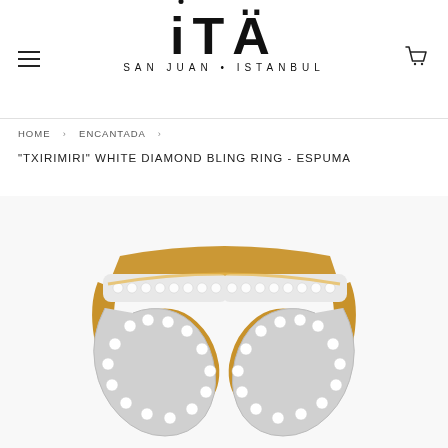[Figure (logo): iTA San Juan Istanbul jewelry brand logo with dots above i and A]
HOME  ›  ENCANTADA  ›
"TXIRIMIRI" WHITE DIAMOND BLING RING - ESPUMA
[Figure (photo): Close-up photo of a gold and diamond ring with two diamond-encrusted curved ends, showing detailed pave diamond setting on white gold prongs with yellow gold band]